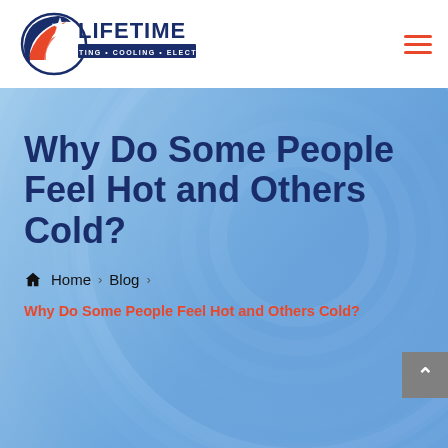[Figure (logo): Lifetime Heating Cooling Electric company logo with eagle and star graphic, red and navy blue colors]
[Figure (photo): Blue-toned close-up photograph of HVAC equipment with circular/spiral metallic elements serving as hero background]
Why Do Some People Feel Hot and Others Cold?
Home › Blog › Why Do Some People Feel Hot and Others Cold?